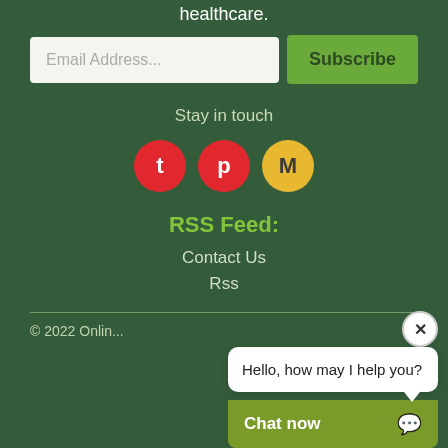healthcare.
Email Address...
Subscribe
Stay in touch
[Figure (infographic): Three social media icon circles: Tumblr (red, t), Pinterest (red, p), Medium (yellow/gold, M)]
RSS Feed:
Contact Us
Rss
© 2022 Onlin...
[Figure (screenshot): Chat widget overlay with close button (X), speech bubble saying 'Hello, how may I help you?', and a green 'Chat now' bar with chat icon]